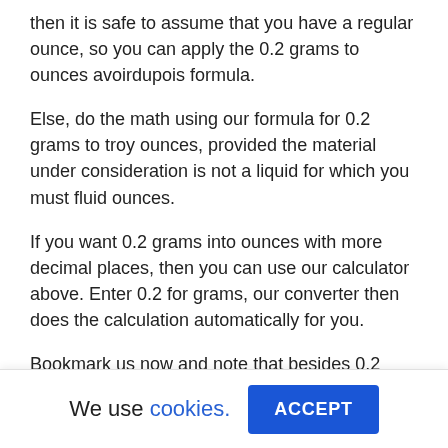then it is safe to assume that you have a regular ounce, so you can apply the 0.2 grams to ounces avoirdupois formula.
Else, do the math using our formula for 0.2 grams to troy ounces, provided the material under consideration is not a liquid for which you must fluid ounces.
If you want 0.2 grams into ounces with more decimal places, then you can use our calculator above. Enter 0.2 for grams, our converter then does the calculation automatically for you.
Bookmark us now and note that besides 0.2 grams into oz, similar mass conversions on our site include, but are not
We use cookies. ACCEPT